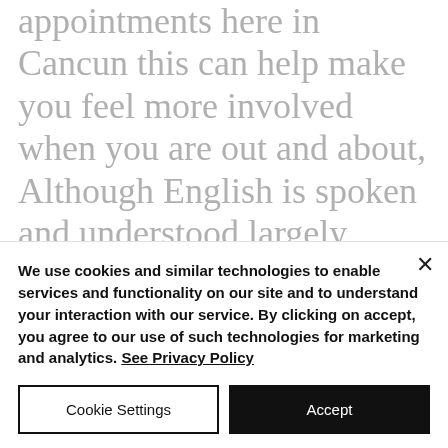appointments here in Cancun this can help make you feel more involved when you are out and about,  Although English is spoken and understood largely around Cancun, not everybody does, and why not throw in a bit of Spanish you will never be laughed at for trying while you enjoy your dental Vacation
We use cookies and similar technologies to enable services and functionality on our site and to understand your interaction with our service. By clicking on accept, you agree to our use of such technologies for marketing and analytics. See Privacy Policy